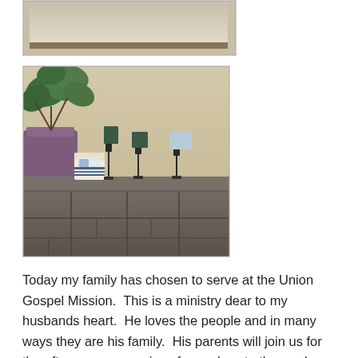[Figure (photo): Partial view of what appears to be a framed picture or painting on a light beige/tan wall, cropped at the top of the page.]
[Figure (photo): Interior photo showing a stone fireplace mantel with candles on iron candlesticks and a decorative candle with a photo wrap, alongside a purple plant pot with a green leafy plant in the upper left.]
Today my family has chosen to serve at the Union Gospel Mission.  This is a ministry dear to my husbands heart.  He loves the people and in many ways they are his family.  His parents will join us for the afternoon as we give of ourselves to those who don't have as much.  We will in went [sic] to spread for those who...